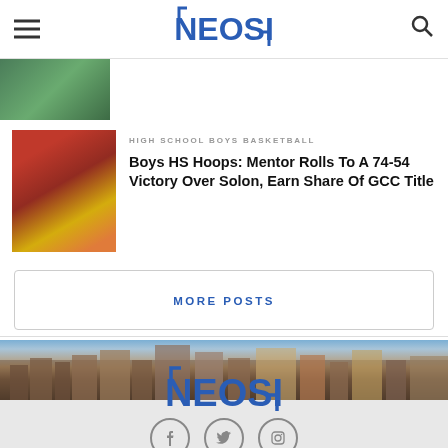NEOSI - navigation header with hamburger menu, logo, and search icon
[Figure (photo): Partial sports photo visible at top, green background]
HIGH SCHOOL BOYS BASKETBALL
Boys HS Hoops: Mentor Rolls To A 74-54 Victory Over Solon, Earn Share Of GCC Title
[Figure (photo): Basketball game photo with players on red court]
MORE POSTS
[Figure (photo): Cleveland city skyline panoramic photo]
[Figure (logo): NEOSI logo in footer with bracket decoration]
[Figure (other): Social media icons: Facebook, Twitter, Instagram]